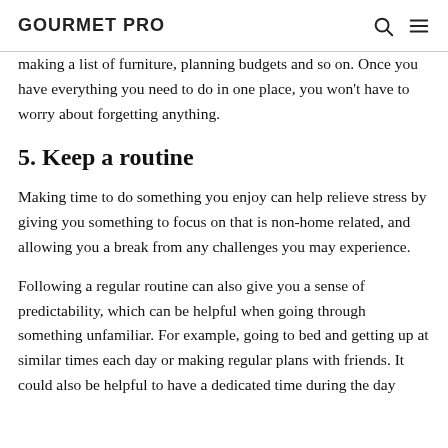GOURMET PRO
making a list of furniture, planning budgets and so on. Once you have everything you need to do in one place, you won't have to worry about forgetting anything.
5. Keep a routine
Making time to do something you enjoy can help relieve stress by giving you something to focus on that is non-home related, and allowing you a break from any challenges you may experience.
Following a regular routine can also give you a sense of predictability, which can be helpful when going through something unfamiliar. For example, going to bed and getting up at similar times each day or making regular plans with friends. It could also be helpful to have a dedicated time during the day